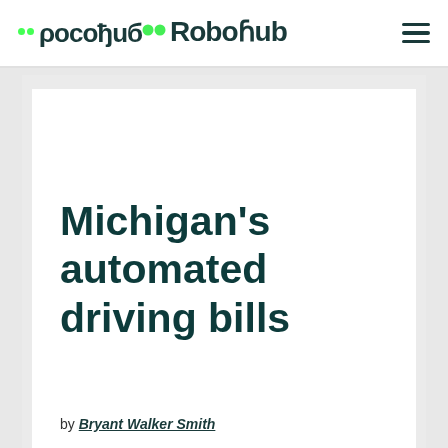Robohub
Michigan's automated driving bills
by Bryant Walker Smith